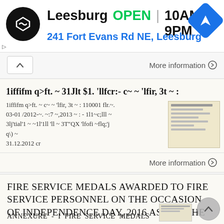[Figure (screenshot): Ad banner: Leesburg store - OPEN 10AM-9PM, 241 Fort Evans Rd NE, Leesburg with logo and navigation icon]
More information →
1iffifm q>ft. ~ 31Jlt $1. 'llfcr:- c~ ~ 'lfir, 3t ~ :
1iffifm q>ft. ~ c~ ~ 'lfir, 3t ~ : 110001 flr.~. 03-01 /2012-~. ~:7 ~,2013 ~ : - 1l1~c;lll ~ 3lj'tial'1 ~ ~1l'1ll 'll ~ 3T"QX 'lfofi ~flq;'j q\) ~ 31.12.2012 cr
More information →
FIRE SERVICE MEDALS AWARDED TO FIRE SERVICE PERSONNEL ON THE OCCASION OF INDEPENDENCE DAY, 2016 AS PER THE
Annexure - I FIRE SERVICE MEDALS